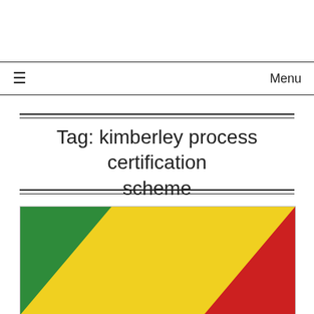≡  Menu
Tag: kimberley process certification scheme
[Figure (illustration): Flag of the Republic of Congo — three diagonal stripes: green (upper left), yellow (middle diagonal), and red (lower right)]